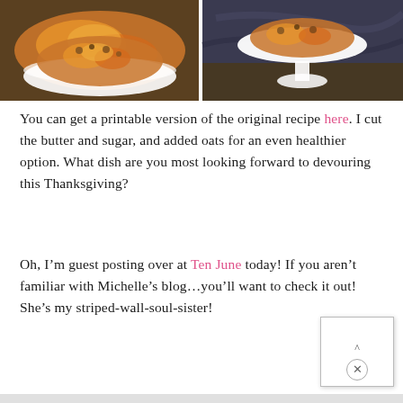[Figure (photo): Two photos side by side showing bowls of roasted sweet potato dish with oat topping. Left photo shows a white bowl close-up; right photo shows a white pedestal bowl on a dark marble surface.]
You can get a printable version of the original recipe here. I cut the butter and sugar, and added oats for an even healthier option. What dish are you most looking forward to devouring this Thanksgiving?
Oh, I’m guest posting over at Ten June today! If you aren’t familiar with Michelle’s blog...you’ll want to check it out! She’s my striped-wall-soul-sister!